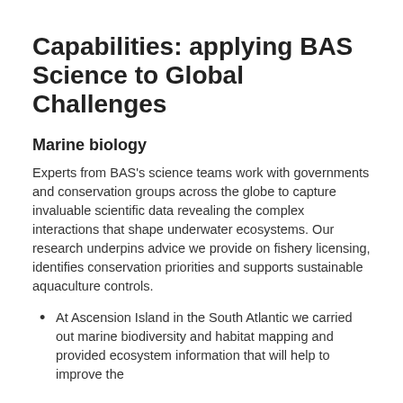Capabilities: applying BAS Science to Global Challenges
Marine biology
Experts from BAS's science teams work with governments and conservation groups across the globe to capture invaluable scientific data revealing the complex interactions that shape underwater ecosystems. Our research underpins advice we provide on fishery licensing, identifies conservation priorities and supports sustainable aquaculture controls.
At Ascension Island in the South Atlantic we carried out marine biodiversity and habitat mapping and provided ecosystem information that will help to improve the